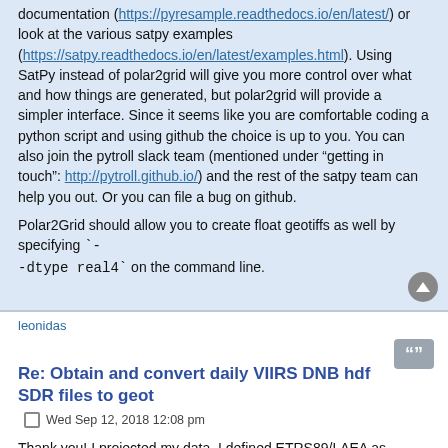documentation (https://pyresample.readthedocs.io/en/latest/) or look at the various satpy examples (https://satpy.readthedocs.io/en/latest/examples.html). Using SatPy instead of polar2grid will give you more control over what and how things are generated, but polar2grid will provide a simpler interface. Since it seems like you are comfortable coding a python script and using github the choice is up to you. You can also join the pytroll slack team (mentioned under "getting in touch": http://pytroll.github.io/) and the rest of the satpy team can help you out. Or you can file a bug on github.
Polar2Grid should allow you to create float geotiffs as well by specifying `--dtype real4` on the command line.
leonidas
Re: Obtain and convert daily VIIRS DNB hdf SDR files to geot
Wed Sep 12, 2018 12:08 pm
Thank you! I projected my data. I defined ETRS89/LAEA as follows:
CODE: SELECT ALL